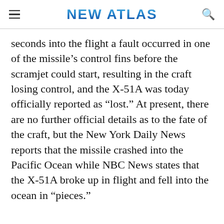NEW ATLAS
seconds into the flight a fault occurred in one of the missile’s control fins before the scramjet could start, resulting in the craft losing control, and the X-51A was today officially reported as "lost." At present, there are no further official details as to the fate of the craft, but the New York Daily News reports that the missile crashed into the Pacific Ocean while NBC News states that the X-51A broke up in flight and fell into the ocean in "pieces."